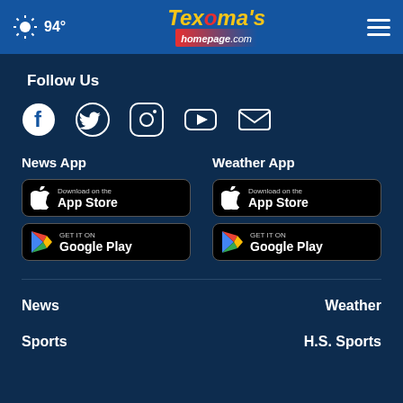94° Texoma's homepage.com
Follow Us
[Figure (infographic): Social media icons: Facebook, Twitter, Instagram, YouTube, Email]
News App
[Figure (infographic): Download on the App Store button]
[Figure (infographic): Get it on Google Play button]
Weather App
[Figure (infographic): Download on the App Store button]
[Figure (infographic): Get it on Google Play button]
News
Weather
Sports
H.S. Sports